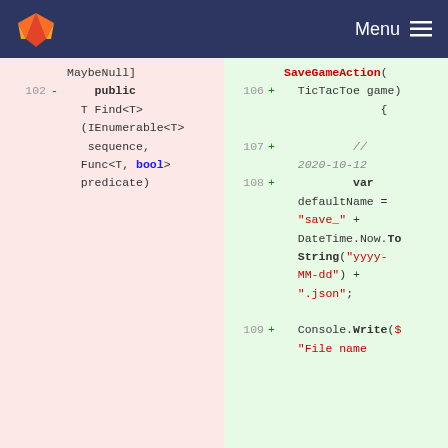[Figure (screenshot): GitLab-style code diff view showing removal of a C# public method Find<T> on the left (lines ~102, pink background) and addition of SaveGameAction constructor and body with DateTime.Now.ToString and Console.Write on the right (lines 106-109, green background), with a dark navy header bar with GitLab logo and Menu text.]